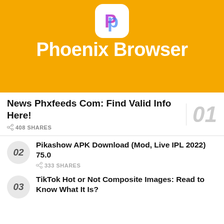[Figure (illustration): Phoenix Browser promotional banner with yellow/orange background, app icon (white rounded square with blue-purple P letter), large white text 'Phoenix Browser', and red banner below with black bold text 'News Phxfeeds Com: Find Valid Info Here!']
News Phxfeeds Com: Find Valid Info Here!
408 SHARES
Pikashow APK Download (Mod, Live IPL 2022) 75.0
333 SHARES
TikTok Hot or Not Composite Images: Read to Know What It Is?